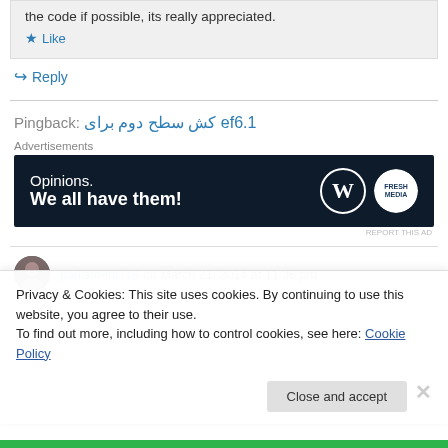the code if possible, its really appreciated.
Like
Reply
Pingback: كش سطح دوم برای ef6.1
[Figure (screenshot): Advertisement banner with dark background reading 'Opinions. We all have them!' with WordPress and FreshMedia logos]
parliament718 on March 21, 2014 at 11:36 pm
Privacy & Cookies: This site uses cookies. By continuing to use this website, you agree to their use.
To find out more, including how to control cookies, see here: Cookie Policy